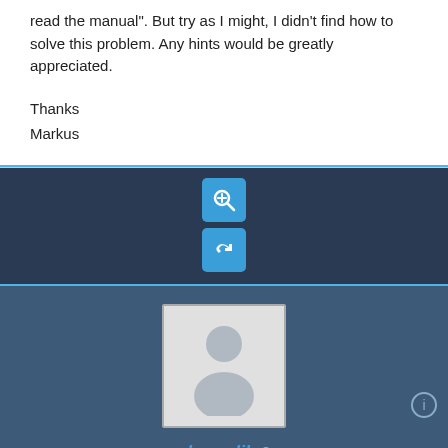read the manual". But try as I might, I didn't find how to solve this problem. Any hints would be greatly appreciated.
Thanks
Markus
[Figure (screenshot): Action bar with dark blue background containing two blue icon buttons: a zoom/magnify button and a reply/undo arrow button]
[Figure (infographic): User profile card with dark blue background, showing a generic avatar placeholder image, username 'abenedik' in blue italic bold with a grey online indicator dot, role 'Administrator', and 7 orange star icons below]